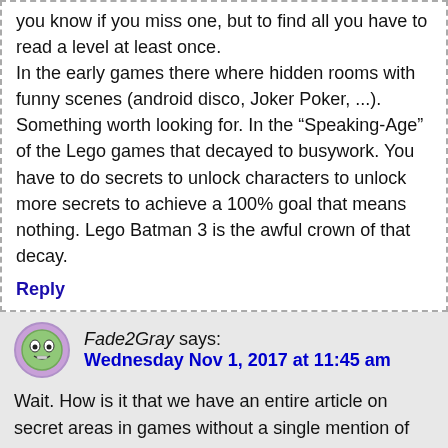you know if you miss one, but to find all you have to read a level at least once. In the early games there where hidden rooms with funny scenes (android disco, Joker Poker, ...). Something worth looking for. In the “Speaking-Age” of the Lego games that decayed to busywork. You have to do secrets to unlock characters to unlock more secrets to achieve a 100% goal that means nothing. Lego Batman 3 is the awful crown of that decay.
Reply
Fade2Gray says:
Wednesday Nov 1, 2017 at 11:45 am
Wait. How is it that we have an entire article on secret areas in games without a single mention of the Secret Cow Level/Whimsyshire in the Diablo games? Not even in the comments!